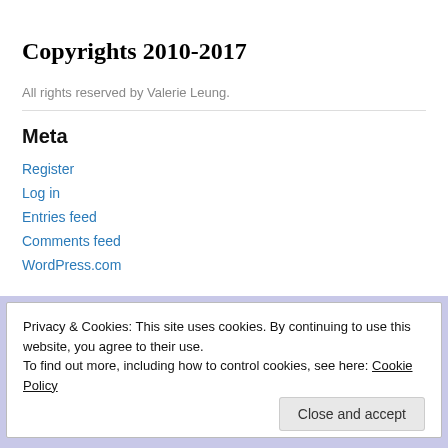Copyrights 2010-2017
All rights reserved by Valerie Leung.
Meta
Register
Log in
Entries feed
Comments feed
WordPress.com
Privacy & Cookies: This site uses cookies. By continuing to use this website, you agree to their use.
To find out more, including how to control cookies, see here: Cookie Policy
Close and accept